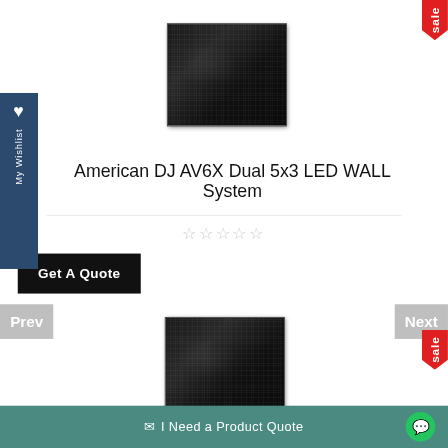[Figure (photo): LED wall panel product photo - American DJ AV6X Dual 5x3 LED WALL System, top view]
American DJ AV6X Dual 5x3 LED WALL System
[Figure (other): Five empty star rating icons]
Get A Quote
Prev
Next
[Figure (photo): LED wall panel product photo - second product, bottom view]
✉ I Need a Product Quote